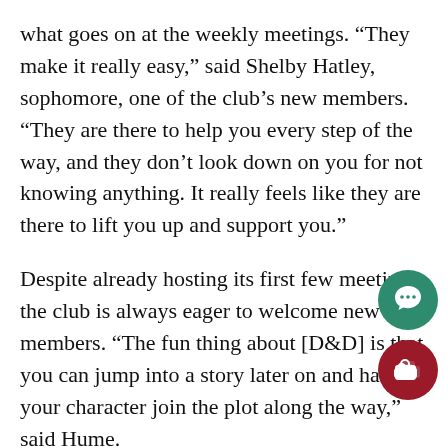what goes on at the weekly meetings. “They make it really easy,” said Shelby Hatley, sophomore, one of the club’s new members. “They are there to help you every step of the way, and they don’t look down on you for not knowing anything. It really feels like they are there to lift you up and support you.”
Despite already hosting its first few meetings, the club is always eager to welcome new members. “The fun thing about [D&D] is that you can jump into a story later on and have your character join the plot along the way,” said Hume.
The club agrees that D&D has always been a fantastic way of bringing people together. “I think it’s stuck around so long because it really impacts a lot of people. People really connect with that idea of escapism, creating your own world, and really just spending time with your friends in this very unique